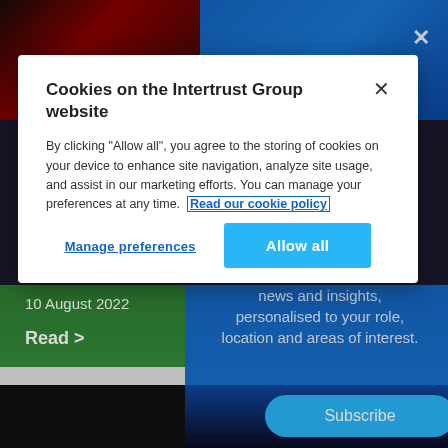[Figure (screenshot): Website background with dark red top-left section, blue top-right section, green bottom-left panel showing '10 August 2022' and 'Read >' text, blue bottom-right panel with 'news and insights, personalised to your role, location and areas of interest.' text and a 'Subscribe' button]
Cookies on the Intertrust Group website
By clicking "Allow all", you agree to the storing of cookies on your device to enhance site navigation, analyze site usage, and assist in our marketing efforts. You can manage your preferences at any time. Read our cookie policy
Manage preferences
Allow all